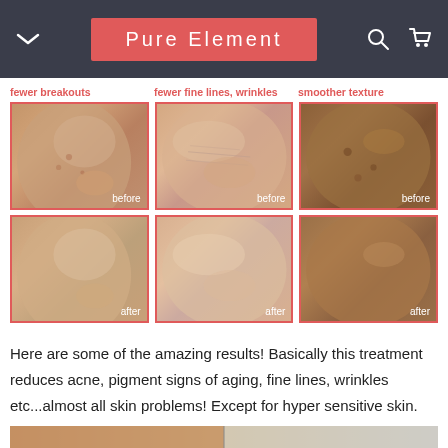Pure Element
fewer breakouts
fewer fine lines, wrinkles
smoother texture
[Figure (photo): Before photo: woman's cheek with breakouts, labeled 'before']
[Figure (photo): Before photo: woman's eye area with fine lines, labeled 'before']
[Figure (photo): Before photo: darker skin cheek with texture issues, labeled 'before']
[Figure (photo): After photo: woman's cheek, fewer breakouts, labeled 'after']
[Figure (photo): After photo: woman's eye area, fewer wrinkles, labeled 'after']
[Figure (photo): After photo: darker skin cheek, smoother texture, labeled 'after']
Here are some of the amazing results! Basically this treatment reduces acne, pigment signs of aging, fine lines, wrinkles etc...almost all skin problems! Except for hyper sensitive skin.
[Figure (photo): Close-up before/after comparison of skin texture at bottom of page]